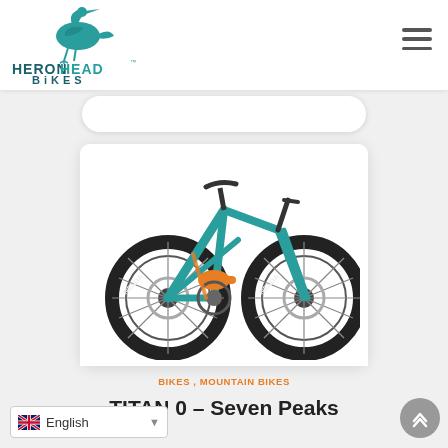[Figure (logo): HeronHead Bikes logo — stylized teal heron above bold teal/dark text reading HERONHEAD BIKES]
[Figure (photo): Full-suspension mountain bike in teal and orange with Nenda tires, shown in profile on white background]
BIKES , MOUNTAIN BIKES
TITAN 0 – Seven Peaks